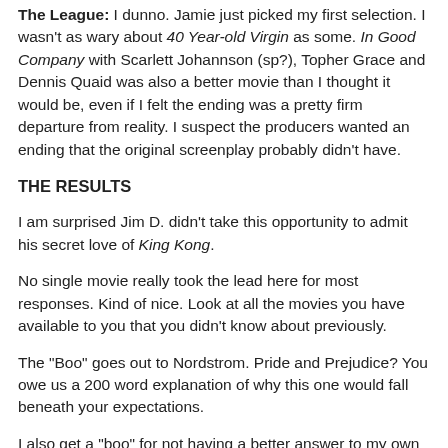The League: I dunno. Jamie just picked my first selection. I wasn't as wary about 40 Year-old Virgin as some. In Good Company with Scarlett Johannson (sp?), Topher Grace and Dennis Quaid was also a better movie than I thought it would be, even if I felt the ending was a pretty firm departure from reality. I suspect the producers wanted an ending that the original screenplay probably didn't have.
THE RESULTS
I am surprised Jim D. didn't take this opportunity to admit his secret love of King Kong.
No single movie really took the lead here for most responses. Kind of nice. Look at all the movies you have available to you that you didn't know about previously.
The "Boo" goes out to Nordstrom. Pride and Prejudice? You owe us a 200 word explanation of why this one would fall beneath your expectations.
I also get a "boo" for not having a better answer to my own